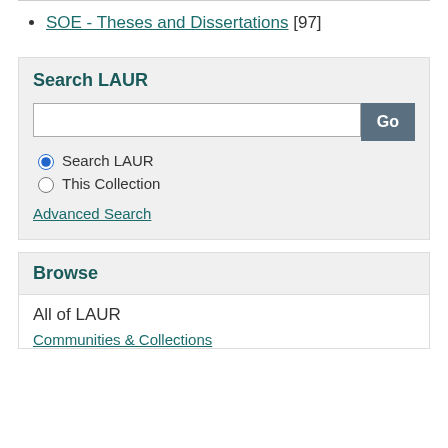SOE - Theses and Dissertations [97]
Search LAUR
Search LAUR (radio, selected)
This Collection (radio)
Advanced Search
Browse
All of LAUR
Communities & Collections